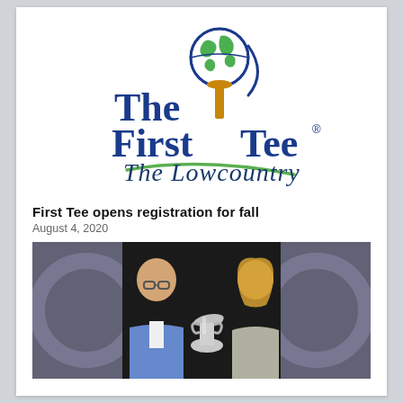[Figure (logo): The First Tee - The Lowcountry logo with globe on golf tee and swoosh]
First Tee opens registration for fall
August 4, 2020
[Figure (photo): Two people, a man in a blue blazer and a woman in a grey top, holding a silver trophy cup at an event with purple/grey decorative backdrop]